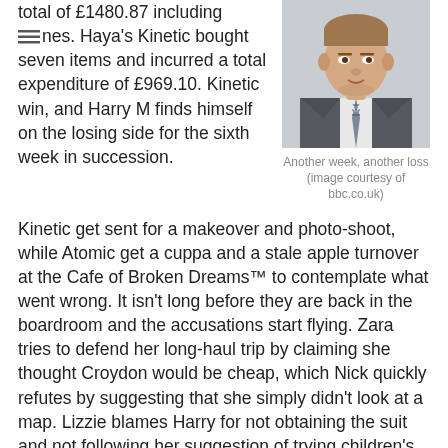total of £1480.87 including fines. Haya's Kinetic bought seven items and incurred a total expenditure of £969.10. Kinetic win, and Harry M finds himself on the losing side for the sixth week in succession.
[Figure (photo): Headshot of a young man in a grey suit with a striped tie, white shirt, against a white background.]
Another week, another loss (image courtesy of bbc.co.uk)
Kinetic get sent for a makeover and photo-shoot, while Atomic get a cuppa and a stale apple turnover at the Cafe of Broken Dreams™ to contemplate what went wrong. It isn't long before they are back in the boardroom and the accusations start flying. Zara tries to defend her long-haul trip by claiming she thought Croydon would be cheap, which Nick quickly refutes by suggesting that she simply didn't look at a map. Lizzie blames Harry for not obtaining the suit and not following her suggestion of trying children's tailors for the suit. Hayley largely lives up to her Invisible Candidate™ nickname, but suggests that Harry only thought to look in places where he himself would